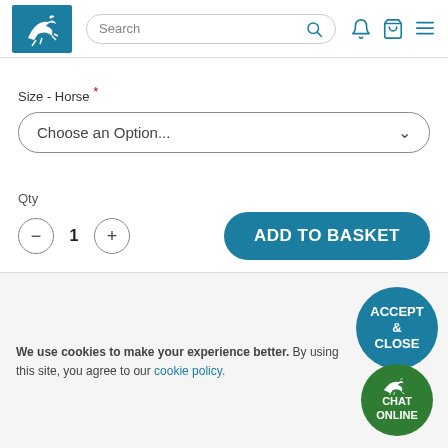[Figure (screenshot): Website header with blue horse-jumping logo, search bar, notification bell icon, basket icon, and hamburger menu]
Size - Horse *
[Figure (screenshot): Dropdown selector reading 'Choose an Option...' with chevron]
Qty
[Figure (screenshot): Quantity controls: minus button, 1, plus button]
[Figure (screenshot): ADD TO BASKET button in teal/blue]
More Options
We use cookies to make your experience better. By using this site, you agree to our cookie policy.
[Figure (screenshot): ACCEPT & CLOSE button (teal circle) and CHAT ONLINE button (green circle)]